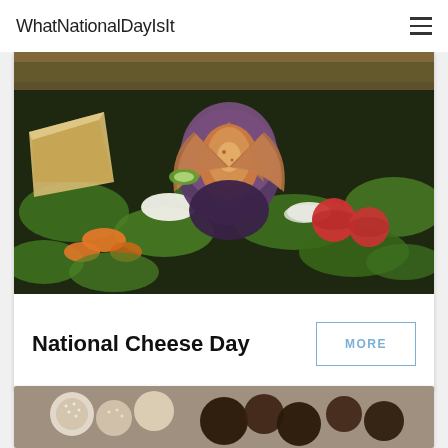WhatNationalDayIsIt
[Figure (photo): A dark slate board with a colorful salad featuring sliced figs, tomatoes, carrots, cucumber, greens, and cheese with bread]
National Cheese Day
MORE
[Figure (photo): Partially visible image of chocolate or sweet balls with toppings]